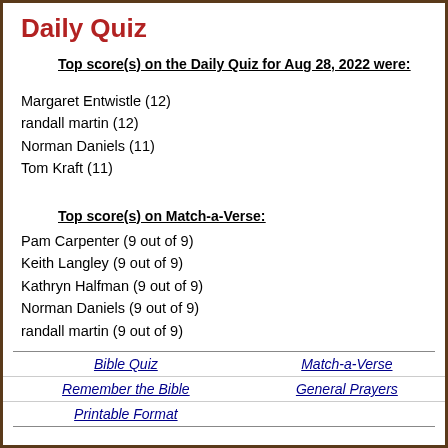Daily Quiz
Top score(s) on the Daily Quiz for Aug 28, 2022 were:
Margaret Entwistle (12)
randall martin (12)
Norman Daniels (11)
Tom Kraft (11)
Top score(s) on Match-a-Verse:
Pam Carpenter (9 out of 9)
Keith Langley (9 out of 9)
Kathryn Halfman (9 out of 9)
Norman Daniels (9 out of 9)
randall martin (9 out of 9)
| Bible Quiz | Match-a-Verse |
| Remember the Bible | General Prayers |
| Printable Format |  |